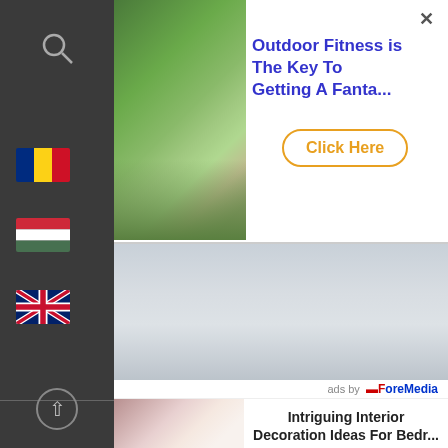[Figure (screenshot): Top advertisement banner with outdoor fitness image on left, blue title text 'Outdoor Fitness is The Key To Getting A Fanta...' and orange 'Click Here' button with rounded border. Close X button top right.]
[Figure (screenshot): Left sidebar with dark gray background, search icon, Romanian flag, Hungarian flag, UK flag, and scroll-up button at bottom.]
[Figure (screenshot): Main background area showing cloudy sky with pink/grey gradient tones.]
ads by ForeMedia
[Figure (screenshot): Bottom advertisement showing sleeping person image on left and text 'Intriguing Interior Decoration Ideas For Bedr...' on right.]
Outdoor Fitness is The Key To Getting A Fanta...
Click Here
Intriguing Interior Decoration Ideas For Bedr...